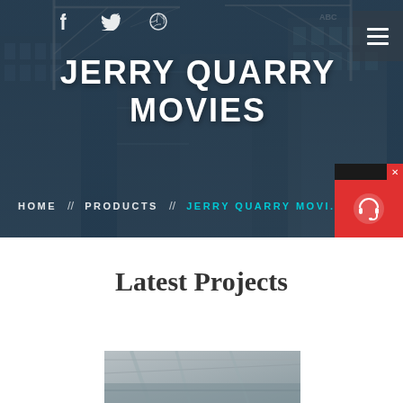[Figure (screenshot): Website hero banner with construction site background (buildings and cranes under a dark blue overlay), social media icons (Facebook, Twitter, Dribbble) at top left, hamburger menu at top right, site title 'JERRY QUARRY MOVIES' in large white bold text, and breadcrumb navigation 'HOME // PRODUCTS // JERRY QUARRY MOVI...' at the bottom of the banner. A live chat widget appears on the right side with a red icon area and 'Chat Now' text.]
Latest Projects
[Figure (photo): Partial view of a construction/industrial interior scene showing machinery and structural elements, visible at the bottom of the page.]